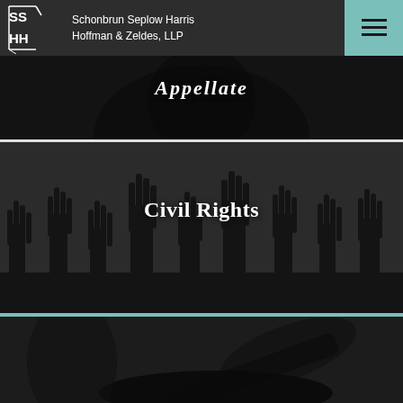Schonbrun Seplow Harris Hoffman & Zeldes, LLP
[Figure (photo): Dark monochrome background image with silhouette figure - Appellate practice area section]
Appellate
[Figure (photo): Dark monochrome background with silhouetted raised hands crowd - Civil Rights practice area section]
Civil Rights
[Figure (photo): Partial dark monochrome image of gavel - third practice area section visible at bottom]